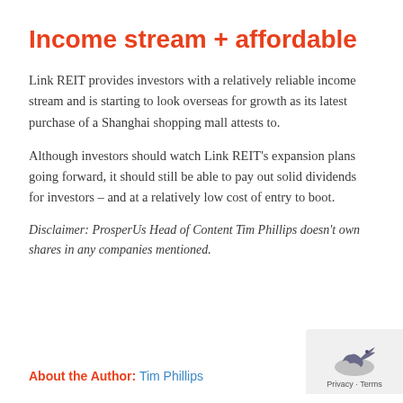Income stream + affordable
Link REIT provides investors with a relatively reliable income stream and is starting to look overseas for growth as its latest purchase of a Shanghai shopping mall attests to.
Although investors should watch Link REIT's expansion plans going forward, it should still be able to pay out solid dividends for investors – and at a relatively low cost of entry to boot.
Disclaimer: ProsperUs Head of Content Tim Phillips doesn't own shares in any companies mentioned.
About the Author: Tim Phillips